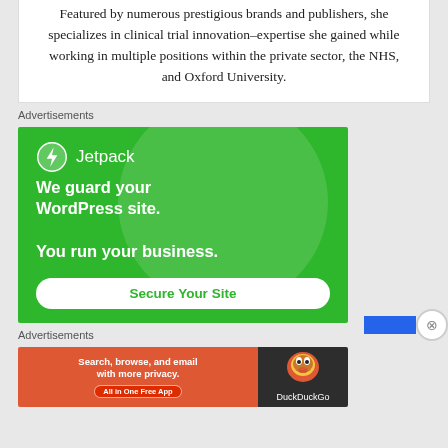Featured by numerous prestigious brands and publishers, she specializes in clinical trial innovation–expertise she gained while working in multiple positions within the private sector, the NHS, and Oxford University.
Advertisements
[Figure (illustration): Jetpack advertisement on green background. Logo with lightning bolt icon and 'Jetpack' text. Large circle decoration. Text: 'We guard your WordPress site. You run your business.' Button: 'Secure Your Site']
Advertisements
[Figure (illustration): DuckDuckGo advertisement. Left orange section: 'Search, browse, and email with more privacy. All in One Free App'. Right dark section with DuckDuckGo duck logo and text 'DuckDuckGo'.]